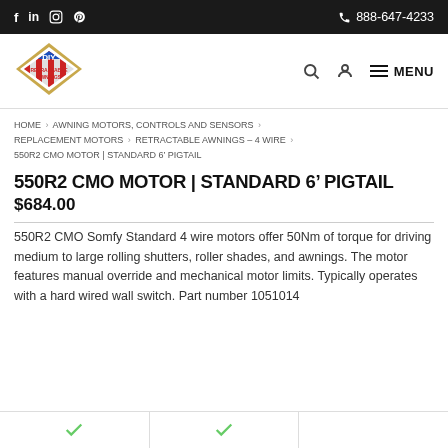f  in  [instagram]  [pinterest]  888-647-4233
[Figure (logo): DIY Retractable Awnings logo — diamond shape with red/white striped awning, blue DIY text on top, red RETRACTABLE AWNINGS text below]
HOME > AWNING MOTORS, CONTROLS AND SENSORS > REPLACEMENT MOTORS > RETRACTABLE AWNINGS – 4 WIRE > 550R2 CMO MOTOR | STANDARD 6' PIGTAIL
550R2 CMO MOTOR | STANDARD 6' PIGTAIL
$684.00
550R2 CMO Somfy Standard 4 wire motors offer 50Nm of torque for driving medium to large rolling shutters, roller shades, and awnings. The motor features manual override and mechanical motor limits. Typically operates with a hard wired wall switch. Part number 1051014